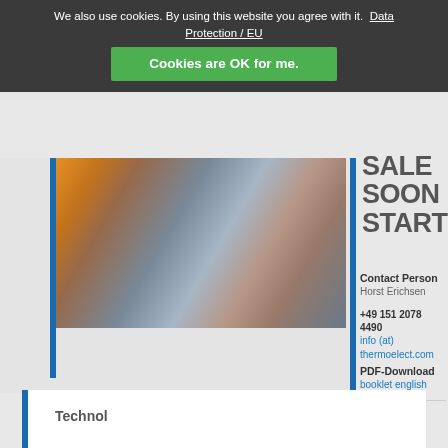We also use cookies. By using this website you agree with it. Data Protection / EU
Cookies are OK for me.
[Figure (photo): Photo of a woman sitting in front of a fireplace, working on a laptop, in a living room setting]
SALE SOON STARTING
Contact Person
Horst Erichsen
+49 151 2078 4490
info (at) thermoelect.com
PDF-Download
booklet english
Technol…